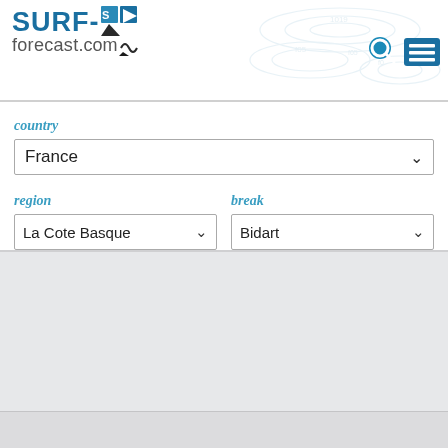[Figure (screenshot): surf-forecast.com website header with logo and topographic map background, search and menu icons]
country
France
region
La Cote Basque
break
Bidart